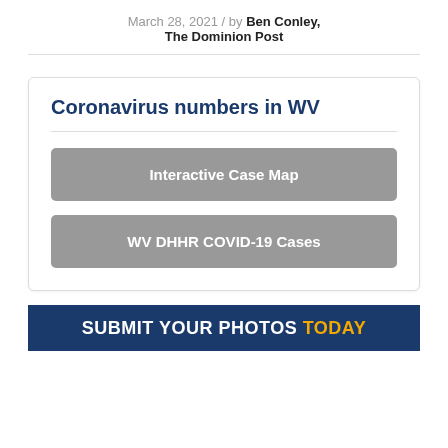March 28, 2021 / by Ben Conley, The Dominion Post
Coronavirus numbers in WV
Interactive Case Map
WV DHHR COVID-19 Cases
[Figure (other): Banner image reading SUBMIT YOUR PHOTOS TODAY with white and gold text on dark blue background]